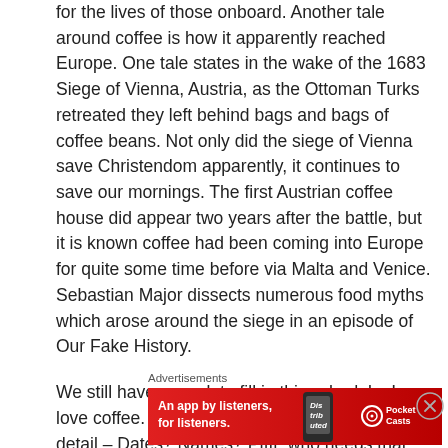for the lives of those onboard. Another tale around coffee is how it apparently reached Europe. One tale states in the wake of the 1683 Siege of Vienna, Austria, as the Ottoman Turks retreated they left behind bags and bags of coffee beans. Not only did the siege of Vienna save Christendom apparently, it continues to save our mornings. The first Austrian coffee house did appear two years after the battle, but it is known coffee had been coming into Europe for quite some time before via Malta and Venice. Sebastian Major dissects numerous food myths which arose around the siege in an episode of Our Fake History.
We still have a week to fill in this schedule. I love coffee. Though the following tale is light on detail – Dates? Names? Pffft, who needs that stuff, History nerds? (Yes please!) –
Advertisements
[Figure (other): Red Pocket Casts advertisement banner. Text reads 'An app by listeners, for listeners.' with Pocket Casts logo and a phone image showing 'Dis-trib-uted' text overlay.]